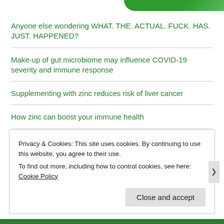[Figure (illustration): Green decorative banner element in top right corner]
Anyone else wondering WHAT. THE. ACTUAL. FUCK. HAS. JUST. HAPPENED?
Make-up of gut microbiome may influence COVID-19 severity and immune response
Supplementing with zinc reduces risk of liver cancer
How zinc can boost your immune health
Can zinc help fight COVID-19?
Privacy & Cookies: This site uses cookies. By continuing to use this website, you agree to their use. To find out more, including how to control cookies, see here: Cookie Policy
Close and accept